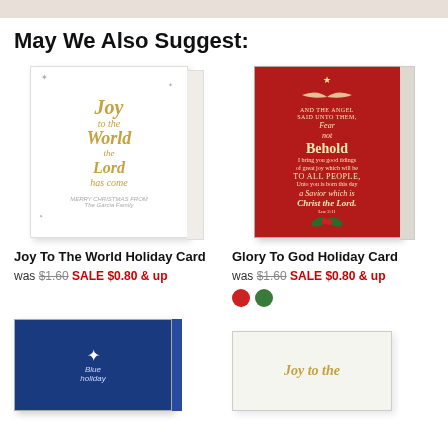May We Also Suggest:
[Figure (photo): Joy To The World Holiday Card - white card with gold script text]
[Figure (photo): Glory To God Holiday Card - red card with cream/gold text about the angel's message]
Joy To The World Holiday Card
was $1.60 SALE $0.80 & up
Glory To God Holiday Card
was $1.60 SALE $0.80 & up
[Figure (photo): Blue holiday card with star]
[Figure (photo): White holiday card with Joy To The World text in gold]